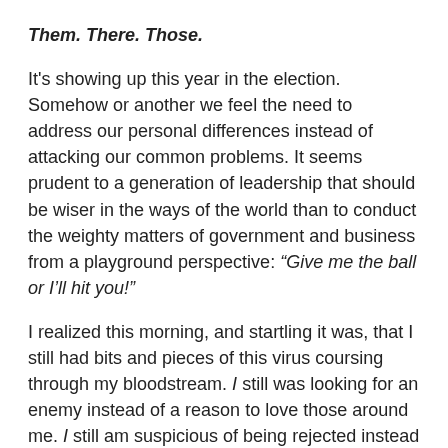Them. There. Those.
It's showing up this year in the election. Somehow or another we feel the need to address our personal differences instead of attacking our common problems. It seems prudent to a generation of leadership that should be wiser in the ways of the world than to conduct the weighty matters of government and business from a playground perspective: “Give me the ball or I’ll hit you!”
I realized this morning, and startling it was, that I still had bits and pieces of this virus coursing through my bloodstream. I still was looking for an enemy instead of a reason to love those around me. I still am suspicious of being rejected instead of preparing what I will do upon receiving acceptance. I have pre-conditioned myself to